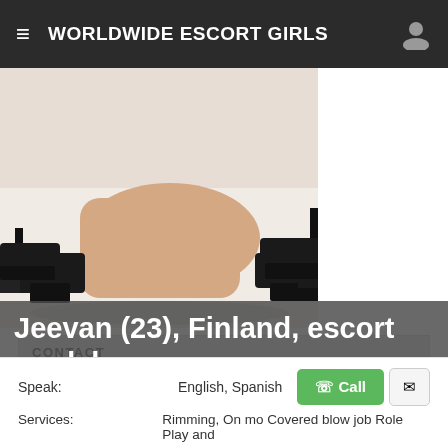WORLDWIDE ESCORT GIRLS
[Figure (photo): Cropped photo of a woman in high heels on a white surface, lower body visible]
| Tel. number | xxx |
| City: | Turku/Finland |
| Last seen: | Yesterday in 03:11 |
| Yesterday: | 16:57 |
| Incall/Outcall: | Incall |
Jeevan (23), Finland, escort model
Speak: English, Spanish
Services: Rimming, On mo Covered blow job Role Play and